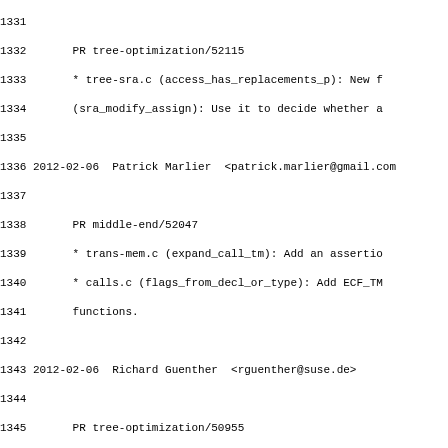Changelog/commit log entries for GCC source tree, lines 1331-1362, showing dates, authors, emails, PR numbers, and file change descriptions.